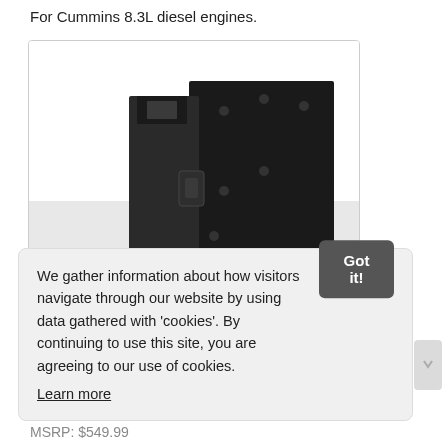For Cummins 8.3L diesel engines.
[Figure (photo): Black metal engine bracket/mounting plate for Cummins 8.3L diesel engine, shown at an angle against white background.]
We gather information about how visitors navigate through our website by using data gathered with 'cookies'. By continuing to use this site, you are agreeing to our use of cookies.
Learn more
Got it!
MSRP: $549.99